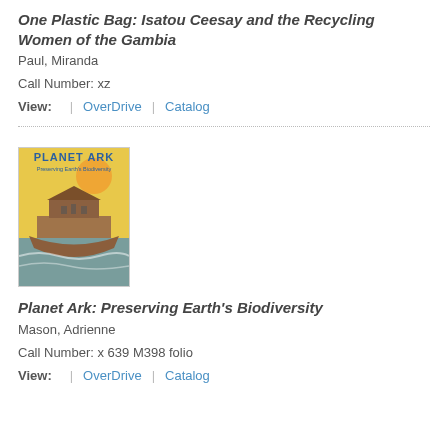One Plastic Bag: Isatou Ceesay and the Recycling Women of the Gambia
Paul, Miranda
Call Number: xz
View: | OverDrive | Catalog
[Figure (photo): Book cover of Planet Ark: Preserving Earth's Biodiversity showing an ark-like boat with animals]
Planet Ark: Preserving Earth's Biodiversity
Mason, Adrienne
Call Number: x 639 M398 folio
View: | OverDrive | Catalog